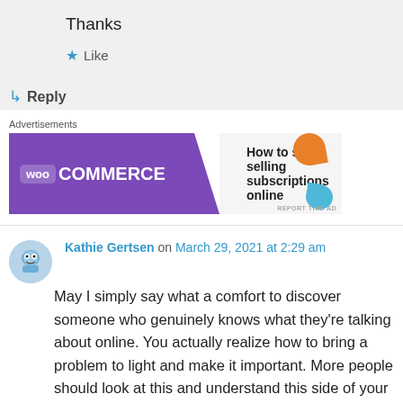Thanks
★ Like
↳ Reply
Advertisements
[Figure (illustration): WooCommerce advertisement banner: purple background with WooCommerce logo on left, text 'How to start selling subscriptions online' on right, with green, orange, and blue decorative shapes.]
Kathie Gertsen on March 29, 2021 at 2:29 am
May I simply say what a comfort to discover someone who genuinely knows what they're talking about online. You actually realize how to bring a problem to light and make it important. More people should look at this and understand this side of your story. I was surprised you aren't